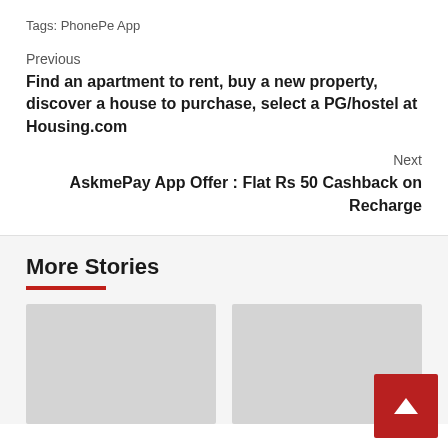Tags: PhonePe App
Previous
Find an apartment to rent, buy a new property, discover a house to purchase, select a PG/hostel at Housing.com
Next
AskmePay App Offer : Flat Rs 50 Cashback on Recharge
More Stories
[Figure (photo): Placeholder image card 1]
[Figure (photo): Placeholder image card 2]